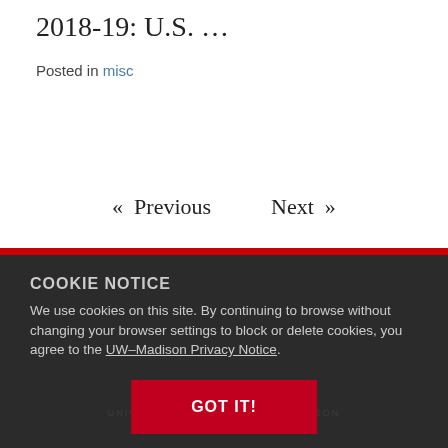2018-19: U.S. …
Posted in misc
« Previous   Next »
COOKIE NOTICE
We use cookies on this site. By continuing to browse without changing your browser settings to block or delete cookies, you agree to the UW–Madison Privacy Notice.
GOT IT!